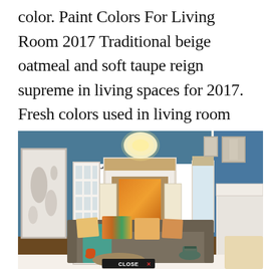color. Paint Colors For Living Room 2017 Traditional beige oatmeal and soft taupe reign supreme in living spaces for 2017. Fresh colors used in living room decor are the main trend of the season for 2017.
[Figure (photo): Interior photo of a living room with teal/blue walls, a chandelier, gray sofa with colorful pillows, teal throw blanket, two red-based lamps flanking a painting, framed artwork on left wall, hardwood floors, white trim and baseboards, and a CLOSE X button overlay at the bottom center.]